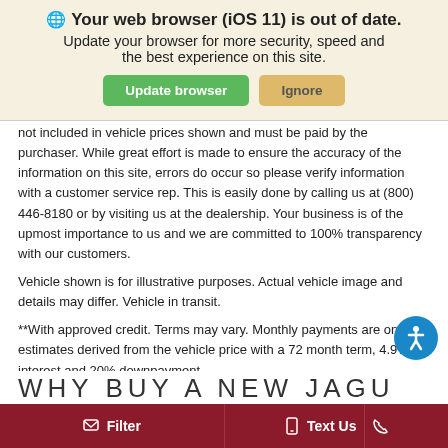[Figure (screenshot): Browser update notification banner with globe icon, bold title 'Your web browser (iOS 11) is out of date.', subtitle 'Update your browser for more security, speed and the best experience on this site.', and two buttons: green 'Update browser' and tan 'Ignore'.]
not included in vehicle prices shown and must be paid by the purchaser. While great effort is made to ensure the accuracy of the information on this site, errors do occur so please verify information with a customer service rep. This is easily done by calling us at (800) 446-8180 or by visiting us at the dealership. Your business is of the upmost importance to us and we are committed to 100% transparency with our customers.
Vehicle shown is for illustrative purposes. Actual vehicle image and details may differ. Vehicle in transit.
**With approved credit. Terms may vary. Monthly payments are only estimates derived from the vehicle price with a 72 month term, 4.9% interest and 20% downpayment.
WHY BUY A NEW JAGU
Filter  |  Text Us  |  Phone